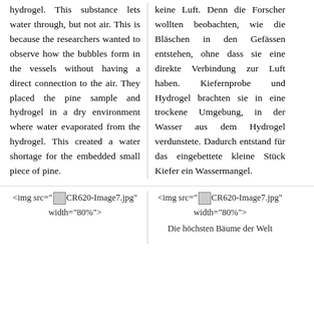hydrogel. This substance lets water through, but not air. This is because the researchers wanted to observe how the bubbles form in the vessels without having a direct connection to the air. They placed the pine sample and hydrogel in a dry environment where water evaporated from the hydrogel. This created a water shortage for the embedded small piece of pine.
keine Luft. Denn die Forscher wollten beobachten, wie die Bläschen in den Gefässen entstehen, ohne dass sie eine direkte Verbindung zur Luft haben. Kiefernprobe und Hydrogel brachten sie in eine trockene Umgebung, in der Wasser aus dem Hydrogel verdunstete. Dadurch entstand für das eingebettete kleine Stück Kiefer ein Wassermangel.
[Figure (other): Inline image placeholder showing <img src="CR620-Image7.jpg" width="80%">]
[Figure (other): Inline image placeholder showing <img src="CR620-Image7.jpg" width="80%">]
Die höchsten Bäume der Welt